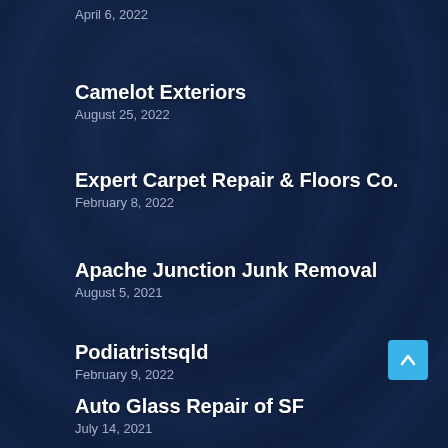April 6, 2022
Camelot Exteriors
August 25, 2022
Expert Carpet Repair & Floors Co.
February 8, 2022
Apache Junction Junk Removal
August 5, 2021
Podiatristsqld
February 9, 2022
Auto Glass Repair of SF
July 14, 2021